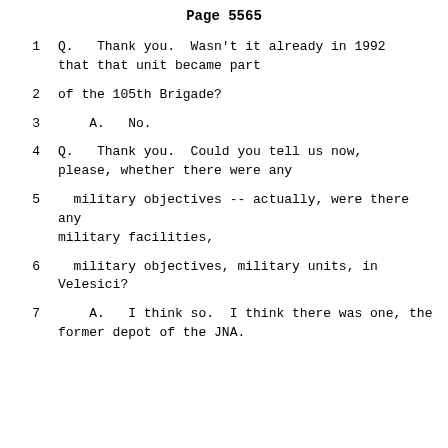Page 5565
1    Q.   Thank you.  Wasn't it already in 1992 that that unit became part
2    of the 105th Brigade?
3        A.   No.
4        Q.   Thank you.  Could you tell us now, please, whether there were any
5      military objectives -- actually, were there any military facilities,
6      military objectives, military units, in Velesici?
7        A.   I think so.  I think there was one, the former depot of the JNA.